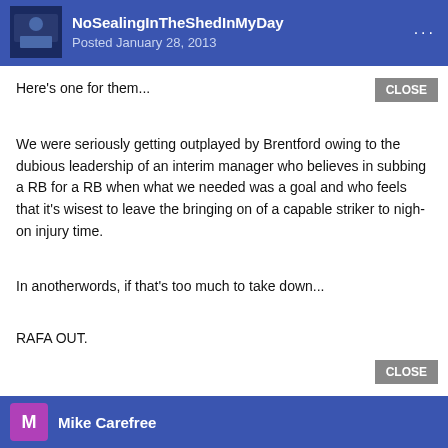NoSealingInTheShedInMyDay
Posted January 28, 2013
Here's one for them...
We were seriously getting outplayed by Brentford owing to the dubious leadership of an interim manager who believes in subbing a RB for a RB when what we needed was a goal and who feels that it's wisest to leave the bringing on of a capable striker to nigh-on injury time.
In anotherwords, if that's too much to take down...
RAFA OUT.
Mike Carefree